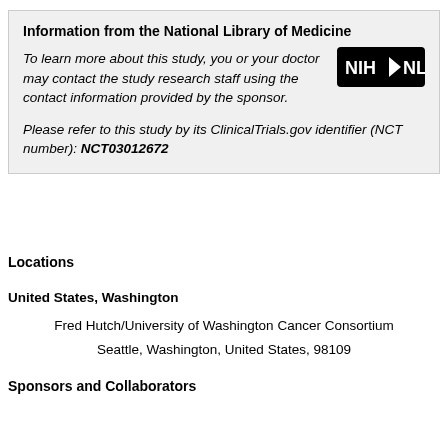Information from the National Library of Medicine
To learn more about this study, you or your doctor may contact the study research staff using the contact information provided by the sponsor.
Please refer to this study by its ClinicalTrials.gov identifier (NCT number): NCT03012672
Locations
United States, Washington
Fred Hutch/University of Washington Cancer Consortium
Seattle, Washington, United States, 98109
Sponsors and Collaborators